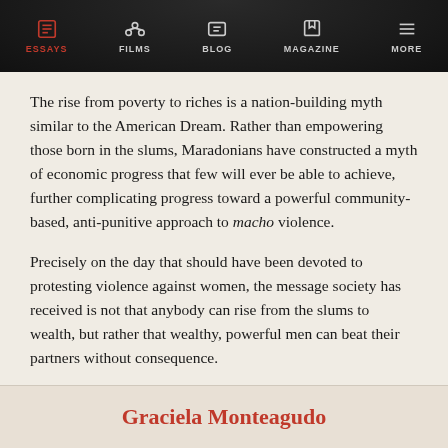ESSAYS  FILMS  BLOG  MAGAZINE  MORE
The rise from poverty to riches is a nation-building myth similar to the American Dream. Rather than empowering those born in the slums, Maradonians have constructed a myth of economic progress that few will ever be able to achieve, further complicating progress toward a powerful community-based, anti-punitive approach to macho violence.
Precisely on the day that should have been devoted to protesting violence against women, the message society has received is not that anybody can rise from the slums to wealth, but rather that wealthy, powerful men can beat their partners without consequence.
Graciela Monteagudo